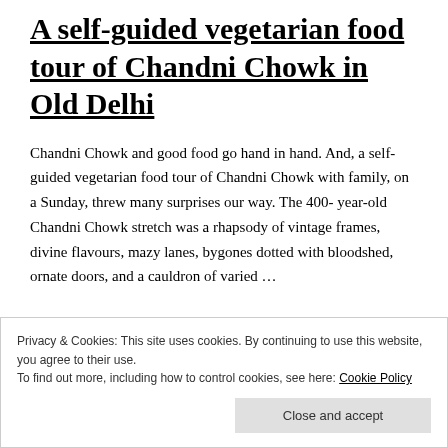A self-guided vegetarian food tour of Chandni Chowk in Old Delhi
Chandni Chowk and good food go hand in hand. And, a self-guided vegetarian food tour of Chandni Chowk with family, on a Sunday, threw many surprises our way. The 400- year-old Chandni Chowk stretch was a rhapsody of vintage frames, divine flavours, mazy lanes, bygones dotted with bloodshed, ornate doors, and a cauldron of varied …
Privacy & Cookies: This site uses cookies. By continuing to use this website, you agree to their use.
To find out more, including how to control cookies, see here: Cookie Policy
Close and accept